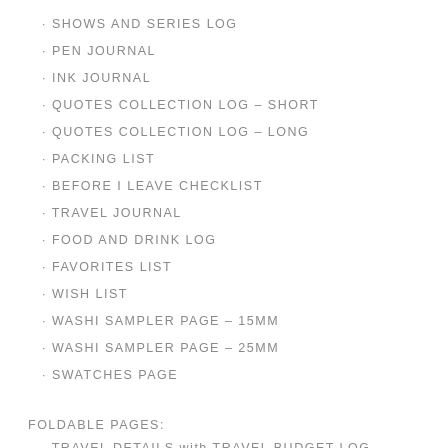SHOWS AND SERIES LOG
PEN JOURNAL
INK JOURNAL
QUOTES COLLECTION LOG – SHORT
QUOTES COLLECTION LOG – LONG
PACKING LIST
BEFORE I LEAVE CHECKLIST
TRAVEL JOURNAL
FOOD AND DRINK LOG
FAVORITES LIST
WISH LIST
WASHI SAMPLER PAGE – 15MM
WASHI SAMPLER PAGE – 25MM
SWATCHES PAGE
FOLDABLE PAGES:
TRAVEL DETAILS with TRAVEL BUDGET LOG